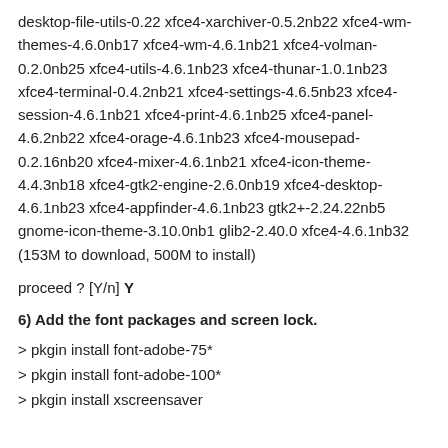desktop-file-utils-0.22 xfce4-xarchiver-0.5.2nb22 xfce4-wm-themes-4.6.0nb17 xfce4-wm-4.6.1nb21 xfce4-volman-0.2.0nb25 xfce4-utils-4.6.1nb23 xfce4-thunar-1.0.1nb23 xfce4-terminal-0.4.2nb21 xfce4-settings-4.6.5nb23 xfce4-session-4.6.1nb21 xfce4-print-4.6.1nb25 xfce4-panel-4.6.2nb22 xfce4-orage-4.6.1nb23 xfce4-mousepad-0.2.16nb20 xfce4-mixer-4.6.1nb21 xfce4-icon-theme-4.4.3nb18 xfce4-gtk2-engine-2.6.0nb19 xfce4-desktop-4.6.1nb23 xfce4-appfinder-4.6.1nb23 gtk2+-2.24.22nb5 gnome-icon-theme-3.10.0nb1 glib2-2.40.0 xfce4-4.6.1nb32 (153M to download, 500M to install)
proceed ? [Y/n] Y
6) Add the font packages and screen lock.
> pkgin install font-adobe-75*
> pkgin install font-adobe-100*
> pkgin install xscreensaver